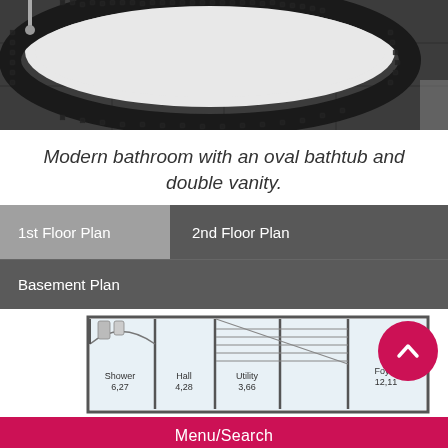[Figure (photo): Modern bathroom photo showing an oval bathtub with dark mosaic tile surround on dark tile floor]
Modern bathroom with an oval bathtub and double vanity.
1st Floor Plan
2nd Floor Plan
Basement Plan
[Figure (engineering-diagram): Basement floor plan showing Shower 6,27 / Hall 4,28 / Utility 3,66 / Foyer 12,11 / Entrance rooms]
Menu/Search